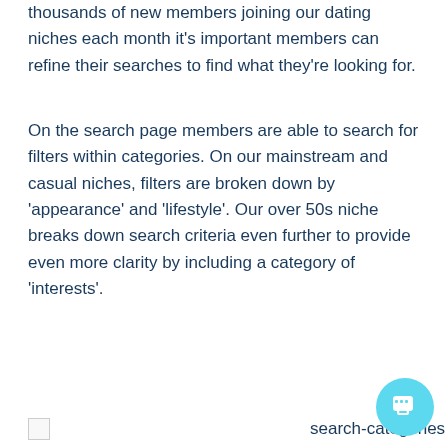thousands of new members joining our dating niches each month it's important members can refine their searches to find what they're looking for.
On the search page members are able to search for filters within categories. On our mainstream and casual niches, filters are broken down by 'appearance' and 'lifestyle'. Our over 50s niche breaks down search criteria even further to provide even more clarity by including a category of 'interests'.
[Figure (other): Broken image placeholder followed by alt text 'search-categories']